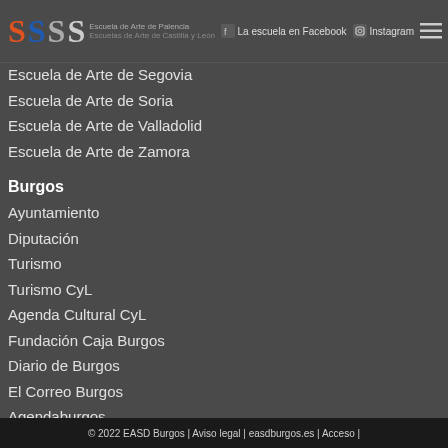Escuela de Arte de Palencia | La escuela en Facebook | Instagram
Escuela de Arte de Segovia
Escuela de Arte de Soria
Escuela de Arte de Valladolid
Escuela de Arte de Zamora
Burgos
Ayuntamiento
Diputación
Turismo
Turismo CyL
Agenda Cultural CyL
Fundación Caja Burgos
Diario de Burgos
El Correo Burgos
Agendaburgos
IaguiaGo
La Senda Burgos
Burgos Conecta
Ticketea
© 2022 EASD Burgos | Aviso legal | easdburgos.es | Acceso |